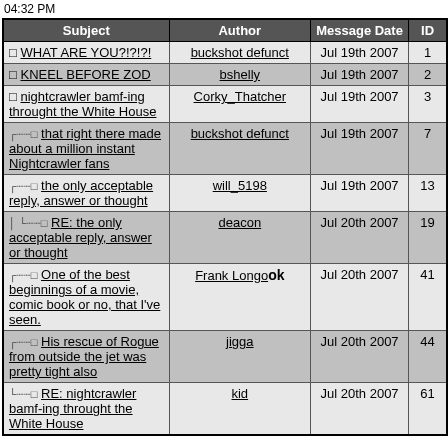04:32 PM
| Subject | Author | Message Date | ID |
| --- | --- | --- | --- |
| ☐ WHAT ARE YOU?!?!?! | buckshot defunct | Jul 19th 2007 | 1 |
| ☐ KNEEL BEFORE ZOD | bshelly | Jul 19th 2007 | 2 |
| ☐ nightcrawler bamf-ing throught the White House | Corky_Thatcher | Jul 19th 2007 | 3 |
| ⋯☐ that right there made about a million instant Nightcrawler fans | buckshot defunct | Jul 19th 2007 | 7 |
| ⋯☐ the only acceptable reply, answer or thought | will_5198 | Jul 19th 2007 | 13 |
| ⋮  ⋯☐ RE: the only acceptable reply, answer or thought | deacon | Jul 20th 2007 | 19 |
| ⋯☐ One of the best beginnings of a movie, comic book or no, that I've seen. | Frank Longook | Jul 20th 2007 | 41 |
| ⋯☐ His rescue of Rogue from outside the jet was pretty tight also | jigga | Jul 20th 2007 | 44 |
| ⋯☐ RE: nightcrawler bamf-ing throught the White House | kid | Jul 20th 2007 | 61 |